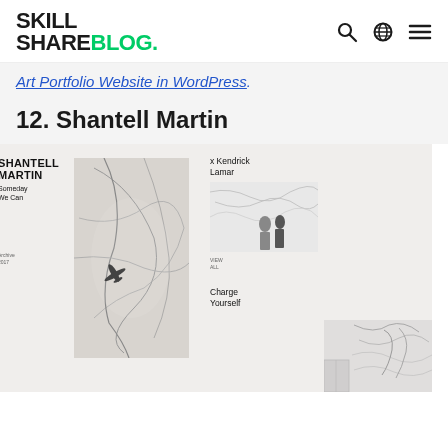Skill Share Blog.
Art Portfolio Website in WordPress.
12. Shantell Martin
[Figure (screenshot): Screenshot of the Shantell Martin artist portfolio website showing a grid layout with the artist's logo/name, a black and white aerial photography image in the center, text items 'Someday We Can', 'x Kendrick Lamar', 'Charge Yourself', and two gallery/art photos on the right side.]